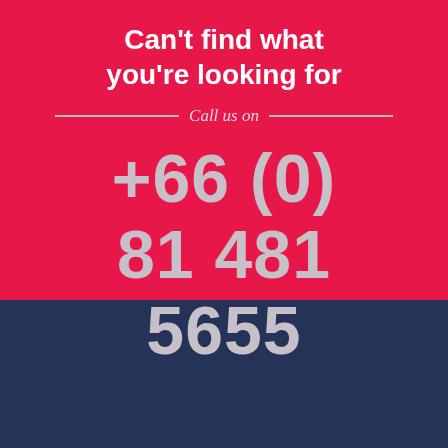Can't find what you're looking for
Call us on
+66 (0) 81 481 5655